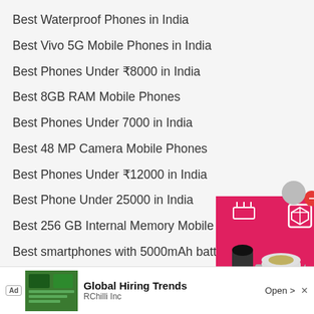Best Waterproof Phones in India
Best Vivo 5G Mobile Phones in India
Best Phones Under ₹8000 in India
Best 8GB RAM Mobile Phones
Best Phones Under 7000 in India
Best 48 MP Camera Mobile Phones
Best Phones Under ₹12000 in India
Best Phone Under 25000 in India
Best 256 GB Internal Memory Mobile Phones
Best smartphones with 5000mAh battery in India
Best 12…
[Figure (screenshot): Advertisement banner: Global Hiring Trends by RChilli Inc with Open button]
[Figure (photo): Side widget showing kitchen appliances (blender/mixer) on pink background with close button]